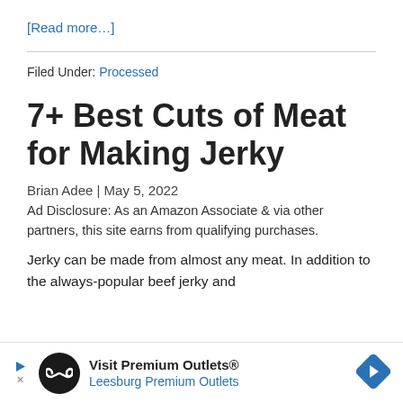[Read more…]
Filed Under: Processed
7+ Best Cuts of Meat for Making Jerky
Brian Adee | May 5, 2022
Ad Disclosure: As an Amazon Associate & via other partners, this site earns from qualifying purchases.
Jerky can be made from almost any meat. In addition to the always-popular beef jerky and
[Figure (infographic): Advertisement banner for Visit Premium Outlets® — Leesburg Premium Outlets, with a circular logo, navigation arrow icon, and small play/close icons on the left.]